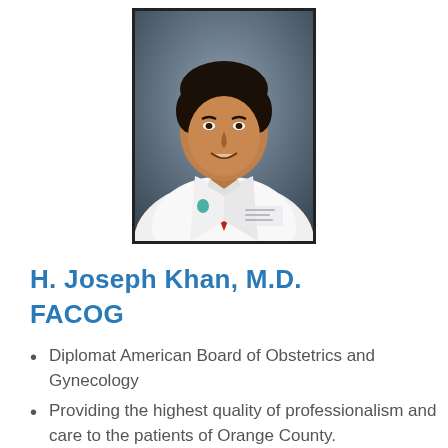[Figure (photo): Professional headshot of H. Joseph Khan, M.D. FACOG, wearing a white medical coat and red tie, with a blue-gray background.]
H. Joseph Khan, M.D. FACOG
Diplomat American Board of Obstetrics and Gynecology
Providing the highest quality of professionalism and care to the patients of Orange County.
Licensed by the state of California